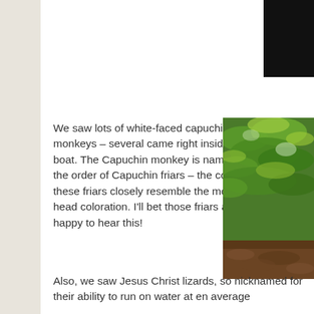[Figure (photo): Dark photo partially visible at top right corner of the page]
We saw lots of white-faced capuchin monkeys – several came right inside the boat. The Capuchin monkey is named after the order of Capuchin friars – the cowls of these friars closely resemble the monkey's head coloration. I'll bet those friars are happy to hear this!
[Figure (photo): Close-up photo of green pine or fern foliage with soil/ground visible at bottom, nature scene]
Also, we saw Jesus Christ lizards, so nicknamed for their ability to run on water at en average